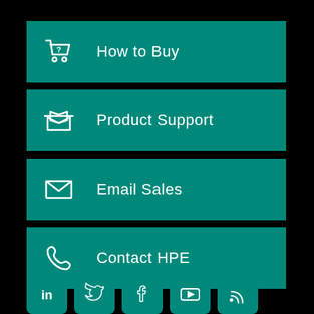How to Buy
Product Support
Email Sales
Contact HPE
[Figure (infographic): Five social media icon buttons: LinkedIn, Twitter, Facebook, YouTube, RSS feed — teal rounded squares with white icons]